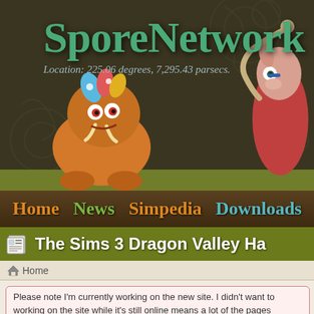[Figure (screenshot): SporeNetwork website header banner with dark brown background, decorative pattern, two 3D creature characters, and green ground bar]
SporeNetwork
Location: 225.06 degrees, 7,295.43 parsecs.
Home  News  Simpedia  Downloads  Sto
The Sims 3 Dragon Valley Ha
Home
Please note I'm currently working on the new site. I didn't want to working on the site while it's still online means a lot of the pages